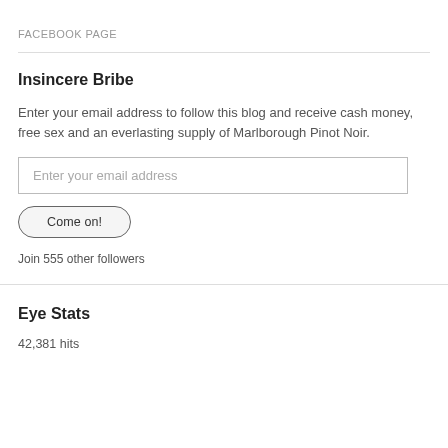FACEBOOK PAGE
Insincere Bribe
Enter your email address to follow this blog and receive cash money, free sex and an everlasting supply of Marlborough Pinot Noir.
Enter your email address
Come on!
Join 555 other followers
Eye Stats
42,381 hits